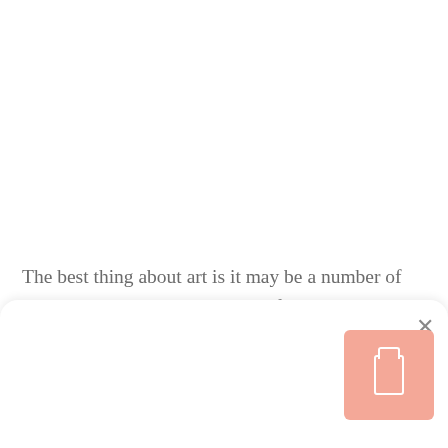The best thing about art is it may be a number of things at the same time a means for us to peer into society's flaws and fissures; a device for visual revolution; or even merely a fungible commodity, ripe for trade and investment on the open